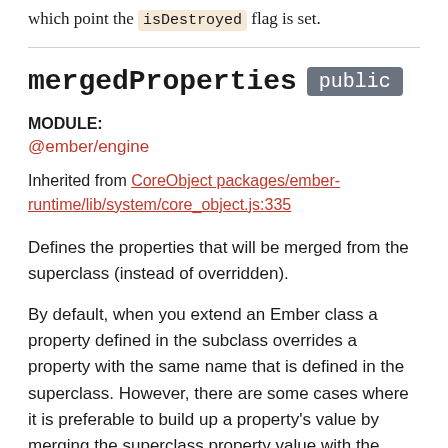which point the isDestroyed flag is set.
mergedProperties public
MODULE:
@ember/engine
Inherited from CoreObject packages/ember-runtime/lib/system/core_object.js:335
Defines the properties that will be merged from the superclass (instead of overridden).
By default, when you extend an Ember class a property defined in the subclass overrides a property with the same name that is defined in the superclass. However, there are some cases where it is preferable to build up a property's value by merging the superclass property value with the subclass property's value. An example of